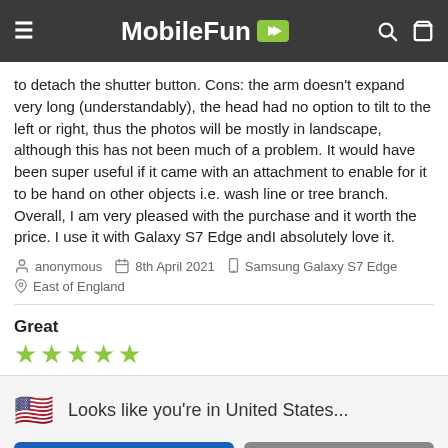MobileFun
to detach the shutter button. Cons: the arm doesn't expand very long (understandably), the head had no option to tilt to the left or right, thus the photos will be mostly in landscape, although this has not been much of a problem. It would have been super useful if it came with an attachment to enable for it to be hand on other objects i.e. wash line or tree branch. Overall, I am very pleased with the purchase and it worth the price. I use it with Galaxy S7 Edge andI absolutely love it.
anonymous  8th April 2021  Samsung Galaxy S7 Edge  East of England
Great
[Figure (other): 5 yellow-green star rating]
Looks like you're in United States...
SHOP THERE
DISMISS